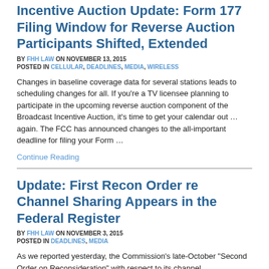Incentive Auction Update: Form 177 Filing Window for Reverse Auction Participants Shifted, Extended
BY FHH LAW ON NOVEMBER 13, 2015
POSTED IN CELLULAR, DEADLINES, MEDIA, WIRELESS
Changes in baseline coverage data for several stations leads to scheduling changes for all. If you’re a TV licensee planning to participate in the upcoming reverse auction component of the Broadcast Incentive Auction, it’s time to get your calendar out … again. The FCC has announced changes to the all-important deadline for filing your Form …
Continue Reading
Update: First Recon Order re Channel Sharing Appears in the Federal Register
BY FHH LAW ON NOVEMBER 3, 2015
POSTED IN DEADLINES, MEDIA
As we reported yesterday, the Commission’s late-October “Second Order on Reconsideration” with respect to its channel